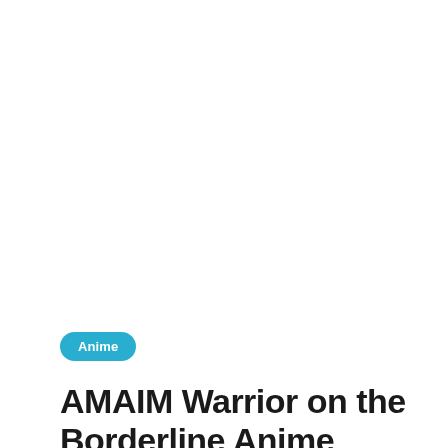Anime
AMAIM Warrior on the Borderline Anime Posts